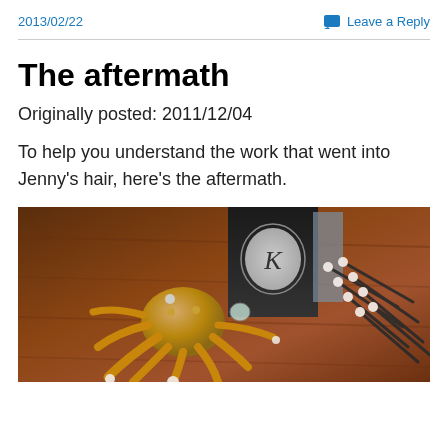2013/02/22
Leave a Reply
The aftermath
Originally posted: 2011/12/04
To help you understand the work that went into Jenny's hair, here's the aftermath.
[Figure (photo): A gold octopus figurine/brooch with pearl accents and gemstones, displayed on a wooden surface alongside pearl-tipped bobby pins and a black box with a circular logo in the background.]